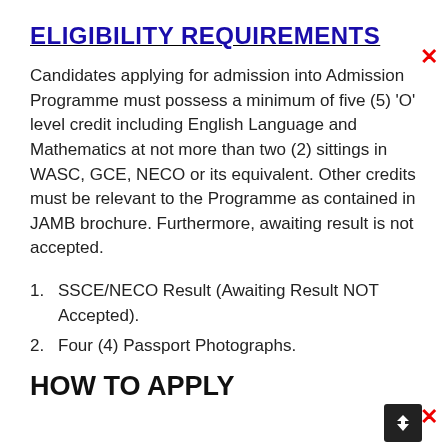ELIGIBILITY REQUIREMENTS
Candidates applying for admission into Admission Programme must possess a minimum of five (5) 'O' level credit including English Language and Mathematics at not more than two (2) sittings in WASC, GCE, NECO or its equivalent. Other credits must be relevant to the Programme as contained in JAMB brochure. Furthermore, awaiting result is not accepted.
SSCE/NECO Result (Awaiting Result NOT Accepted).
Four (4) Passport Photographs.
HOW TO APPLY